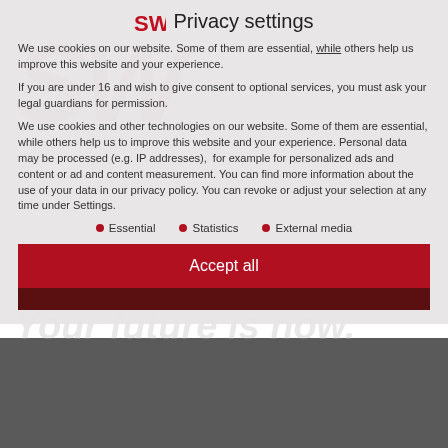Privacy settings
We use cookies on our website. Some of them are essential, while others help us improve this website and your experience.
If you are under 16 and wish to give consent to optional services, you must ask your legal guardians for permission.
We use cookies and other technologies on our website. Some of them are essential, while others help us to improve this website and your experience. Personal data may be processed (e.g. IP addresses), for example for personalized ads and content or ad and content measurement. You can find more information about the use of your data in our privacy policy. You can revoke or adjust your selection at any time under Settings.
Essential
Statistics
External media
Accept all